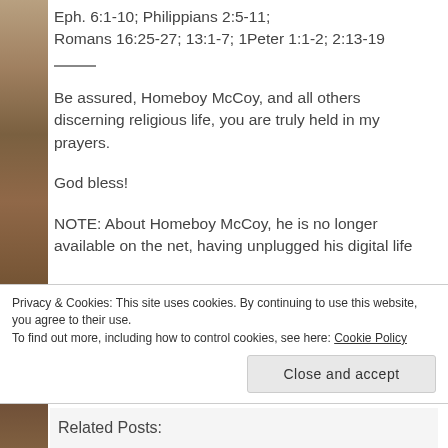Eph. 6:1-10; Philippians 2:5-11; Romans 16:25-27; 13:1-7; 1Peter 1:1-2; 2:13-19
Be assured, Homeboy McCoy, and all others discerning religious life, you are truly held in my prayers.
God bless!
NOTE: About Homeboy McCoy, he is no longer available on the net, having unplugged his digital life
Privacy & Cookies: This site uses cookies. By continuing to use this website, you agree to their use. To find out more, including how to control cookies, see here: Cookie Policy
Close and accept
Related Posts: